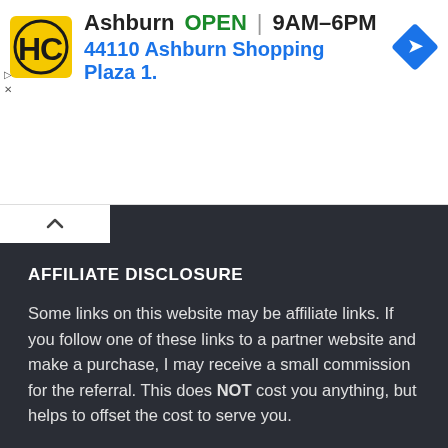[Figure (screenshot): Advertisement banner showing HC logo, Ashburn store info (OPEN 9AM-6PM), address 44110 Ashburn Shopping Plaza 1., and a blue navigation arrow icon]
AFFILIATE DISCLOSURE
Some links on this website may be affiliate links. If you follow one of these links to a partner website and make a purchase, I may receive a small commission for the referral. This does NOT cost you anything, but helps to offset the cost to serve you.